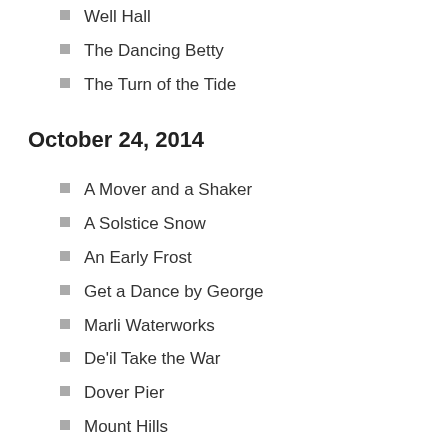Well Hall
The Dancing Betty
The Turn of the Tide
October 24, 2014
A Mover and a Shaker
A Solstice Snow
An Early Frost
Get a Dance by George
Marli Waterworks
De'il Take the War
Dover Pier
Mount Hills
October 22, 2014. Orange Hall
A Quick Romp in the Hay
Trip to Chippenham
The Tatler
Mutual Love